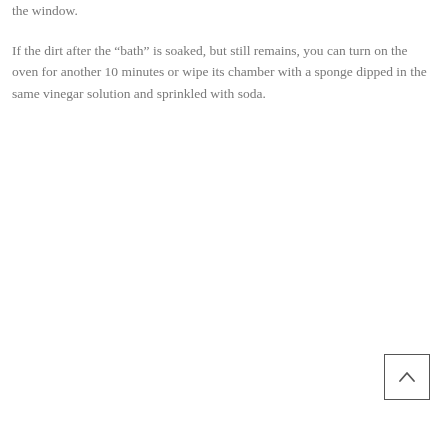the window.
If the dirt after the “bath” is soaked, but still remains, you can turn on the oven for another 10 minutes or wipe its chamber with a sponge dipped in the same vinegar solution and sprinkled with soda.